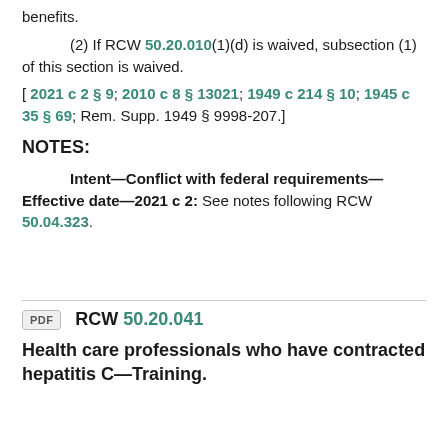benefits.
(2) If RCW 50.20.010(1)(d) is waived, subsection (1) of this section is waived.
[ 2021 c 2 § 9; 2010 c 8 § 13021; 1949 c 214 § 10; 1945 c 35 § 69; Rem. Supp. 1949 § 9998-207.]
NOTES:
Intent—Conflict with federal requirements—Effective date—2021 c 2: See notes following RCW 50.04.323.
PDF   RCW 50.20.041
Health care professionals who have contracted hepatitis C—Training.